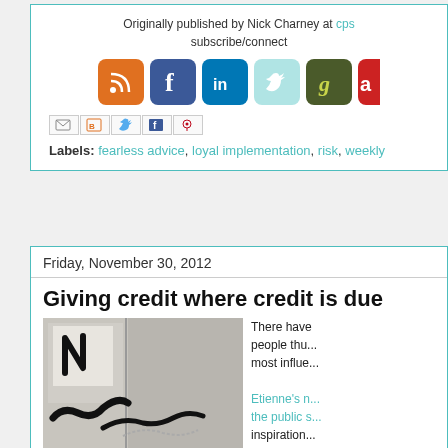Originally published by Nick Charney at cps... subscribe/connect
[Figure (infographic): Social media icons: RSS (orange), Facebook (blue), LinkedIn (blue), Twitter (teal), Google+ (dark green), and one more (red), arranged in a row]
[Figure (infographic): Share buttons row: Gmail, Blogger, Twitter, Facebook, Pinterest icons]
Labels: fearless advice, loyal implementation, risk, weekly
Friday, November 30, 2012
Giving credit where credit is due
[Figure (photo): Graffiti on a wall showing letters including N and other graffiti tags]
There have been people thu... most influe... Etienne's n... the public s... inspiration... this busine...